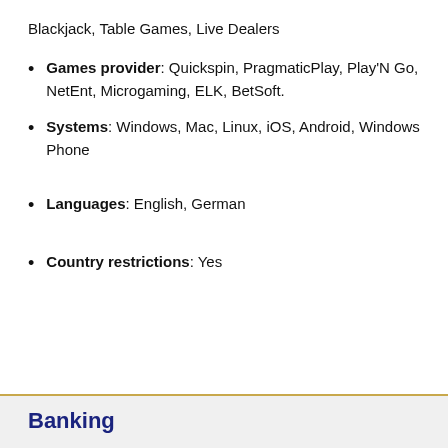Blackjack, Table Games, Live Dealers
Games provider: Quickspin, PragmaticPlay, Play'N Go, NetEnt, Microgaming, ELK, BetSoft.
Systems: Windows, Mac, Linux, iOS, Android, Windows Phone
Languages: English, German
Country restrictions: Yes
Banking